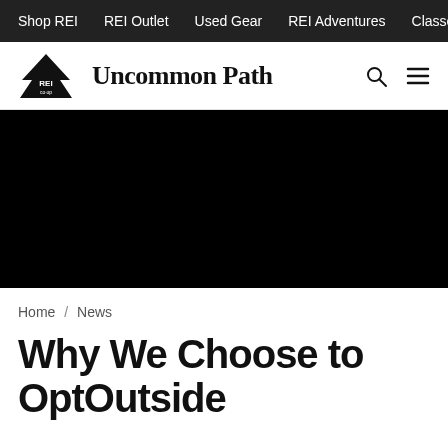Shop REI   REI Outlet   Used Gear   REI Adventures   Classes & E…
[Figure (logo): REI Co-op logo with mountain/tree graphic and text 'REI co-op' alongside the text 'Uncommon Path' and search/menu icons]
[Figure (photo): Large black hero image banner]
Home / News
Why We Choose to OptOutside